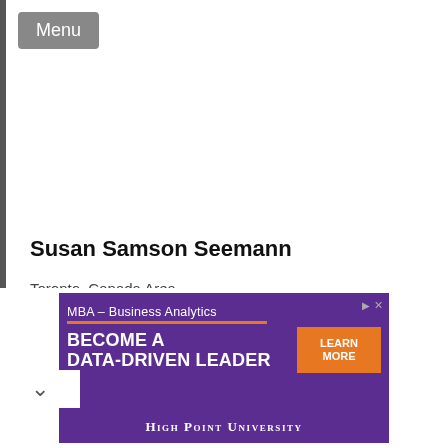[Figure (photo): Grey silhouette placeholder avatar image of a person (head and shoulders), on a light grey background. A 'Menu' button is in the top-left corner.]
Susan Samson Seemann
Toronto, Canada Area
Conveyancer at Samson Searches Ltd.
Legal Services
[Figure (screenshot): Advertisement banner for High Point University MBA – Business Analytics program. Text reads: 'MBA – Business Analytics', 'BECOME A DATA-DRIVEN LEADER', 'LEARN MORE' button, 'HIGH POINT UNIVERSITY'. Purple background with orange accent.]